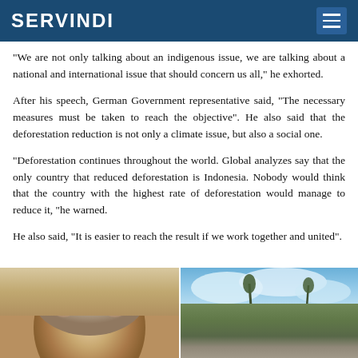SERVINDI
"We are not only talking about an indigenous issue, we are talking about a national and international issue that should concern us all," he exhorted.
After his speech, German Government representative said, "The necessary measures must be taken to reach the objective". He also said that the deforestation reduction is not only a climate issue, but also a social one.
"Deforestation continues throughout the world. Global analyzes say that the only country that reduced deforestation is Indonesia. Nobody would think that the country with the highest rate of deforestation would manage to reduce it, "he warned.
He also said, "It is easier to reach the result if we work together and united".
[Figure (photo): Two side-by-side photos: left shows a close-up of an elderly person with white/grey hair; right shows a deforested landscape with fallen trees and a few trees remaining against a cloudy sky.]